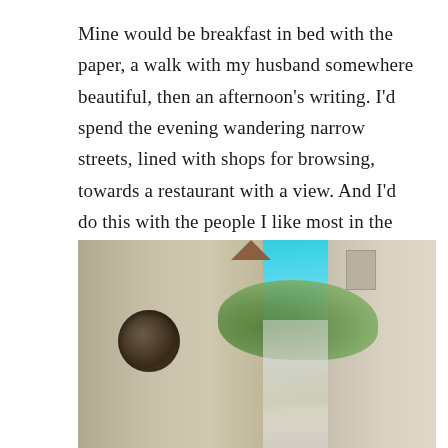Mine would be breakfast in bed with the paper, a walk with my husband somewhere beautiful, then an afternoon's writing. I'd spend the evening wandering narrow streets, lined with shops for browsing, towards a restaurant with a view. And I'd do this with the people I like most in the world, who are all still children where it counts…
[Figure (photo): A narrow street in a French town, with a large stone church building on the left featuring a round circular window, colorful shuttered buildings in the middle distance, lush green trees visible against a bright blue sky, and a light-colored stucco building on the right.]